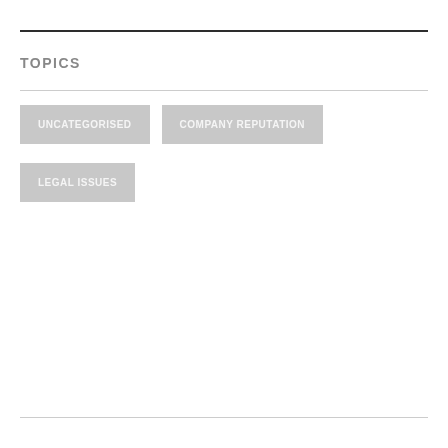TOPICS
UNCATEGORISED
COMPANY REPUTATION
LEGAL ISSUES